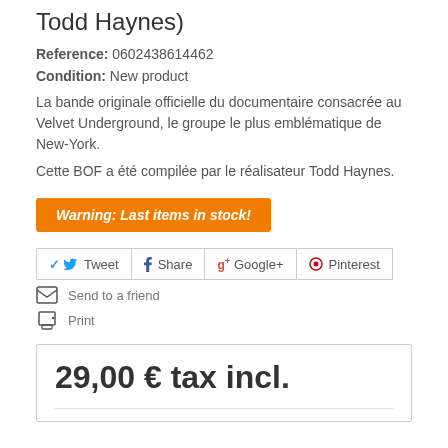Todd Haynes)
Reference: 0602438614462
Condition: New product
La bande originale officielle du documentaire consacrée au Velvet Underground, le groupe le plus emblématique de New-York.
Cette BOF a été compilée par le réalisateur Todd Haynes.
Warning: Last items in stock!
Tweet  Share  Google+  Pinterest
Send to a friend
Print
29,00 € tax incl.